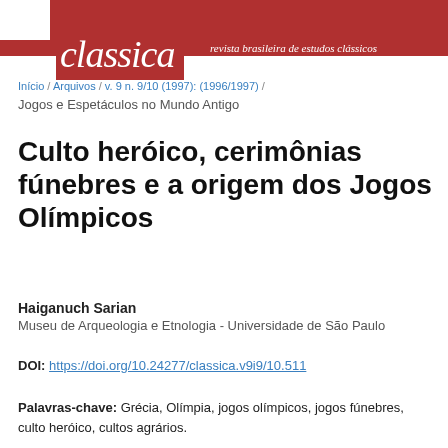classica | revista brasileira de estudos clássicos
Início / Arquivos / v. 9 n. 9/10 (1997): (1996/1997) /
Jogos e Espetáculos no Mundo Antigo
Culto heróico, cerimônias fúnebres e a origem dos Jogos Olímpicos
Haiganuch Sarian
Museu de Arqueologia e Etnologia - Universidade de São Paulo
DOI: https://doi.org/10.24277/classica.v9i9/10.511
Palavras-chave: Grécia, Olímpia, jogos olímpicos, jogos fúnebres, culto heróico, cultos agrários.